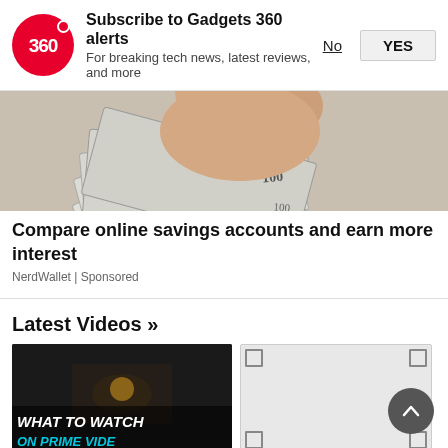[Figure (screenshot): Gadgets 360 notification prompt with logo, subscribe text, No and YES buttons]
[Figure (photo): Hands holding a fan of US $100 dollar bills]
Compare online savings accounts and earn more interest
NerdWallet | Sponsored
Latest Videos »
[Figure (screenshot): Video thumbnail with dark background and text WHAT TO WATCH ON PRIME VIDEO]
[Figure (screenshot): Second video thumbnail placeholder with grey background and corner marks]